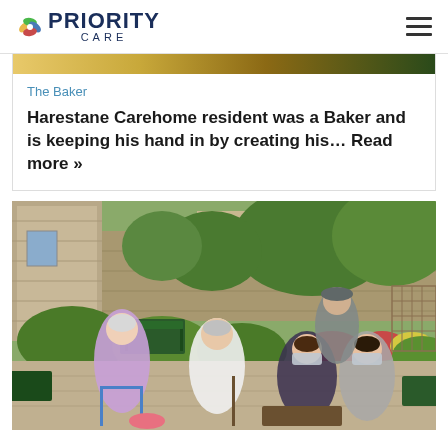Priority Care
The Baker
Harestane Carehome resident was a Baker and is keeping his hand in by creating his... Read more »
[Figure (photo): Group photo of elderly residents and younger family members with face masks seated in a care home garden with greenery, flowers, and stone walls in the background.]